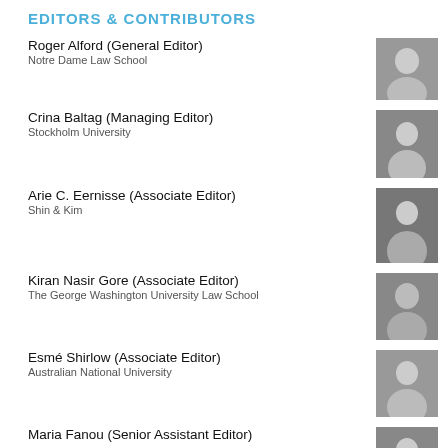EDITORS & CONTRIBUTORS
Roger Alford (General Editor)
Notre Dame Law School
[Figure (photo): Black and white headshot of Roger Alford]
Crina Baltag (Managing Editor)
Stockholm University
[Figure (photo): Black and white headshot of Crina Baltag]
Arie C. Eernisse (Associate Editor)
Shin & Kim
[Figure (photo): Black and white headshot of Arie C. Eernisse]
Kiran Nasir Gore (Associate Editor)
The George Washington University Law School
[Figure (photo): Black and white headshot of Kiran Nasir Gore]
Esmé Shirlow (Associate Editor)
Australian National University
[Figure (photo): Black and white headshot of Esmé Shirlow]
Maria Fanou (Senior Assistant Editor)
[Figure (photo): Black and white headshot of Maria Fanou]
Dina Prokic (Senior Assistant Editor)
Woods LLP
[Figure (photo): Black and white headshot of Dina Prokic]